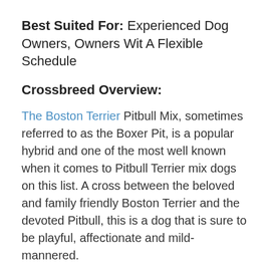Best Suited For: Experienced Dog Owners, Owners Wit A Flexible Schedule
Crossbreed Overview:
The Boston Terrier Pitbull Mix, sometimes referred to as the Boxer Pit, is a popular hybrid and one of the most well known when it comes to Pitbull Terrier mix dogs on this list. A cross between the beloved and family friendly Boston Terrier and the devoted Pitbull, this is a dog that is sure to be playful, affectionate and mild-mannered.